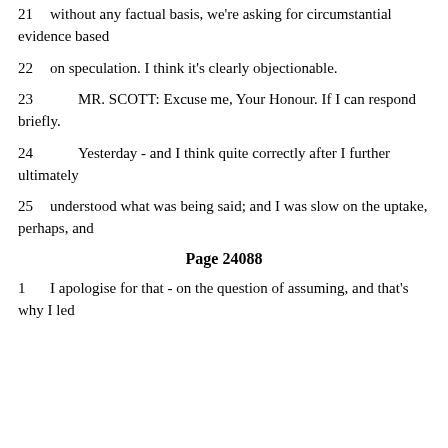21    without any factual basis, we're asking for circumstantial evidence based
22    on speculation.  I think it's clearly objectionable.
23        MR. SCOTT:  Excuse me, Your Honour.  If I can respond briefly.
24        Yesterday - and I think quite correctly after I further ultimately
25    understood what was being said; and I was slow on the uptake, perhaps, and
Page 24088
1    I apologise for that - on the question of assuming, and that's why I led